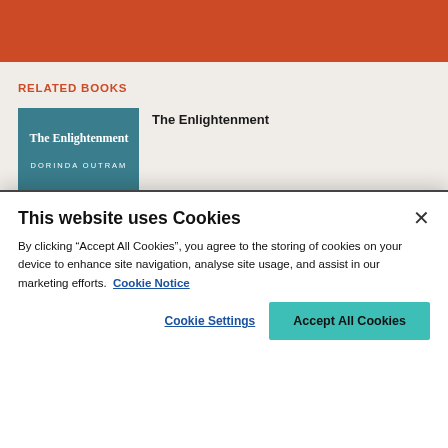RELATED BOOKS
[Figure (illustration): Book cover of 'The Enlightenment' by Dorinda Outram, showing a teal/blue banner on top with white title text and an image of a reclining figure below]
The Enlightenment
This website uses Cookies
By clicking “Accept All Cookies”, you agree to the storing of cookies on your device to enhance site navigation, analyse site usage, and assist in our marketing efforts.  Cookie Notice
Cookie Settings
Accept All Cookies